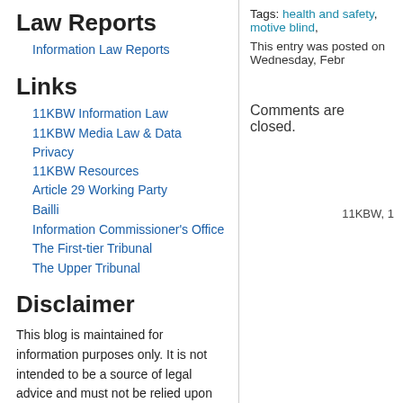Law Reports
Information Law Reports
Links
11KBW Information Law
11KBW Media Law & Data Privacy
11KBW Resources
Article 29 Working Party
Bailli
Information Commissioner's Office
The First-tier Tribunal
The Upper Tribunal
Disclaimer
This blog is maintained for information purposes only. It is not intended to be a source of legal advice and must not be relied upon as such. Blog posts reflect the views and opinions of their individual authors, not of chambers as a whole.
Tags: health and safety, motive blind,
This entry was posted on Wednesday, Febr
Comments are closed.
11KBW, 1